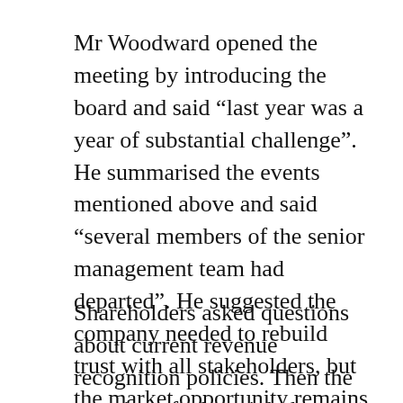Mr Woodward opened the meeting by introducing the board and said “last year was a year of substantial challenge”. He summarised the events mentioned above and said “several members of the senior management team had departed”. He suggested the company needed to rebuild trust with all stakeholders, but the market opportunity remains strong. He said he was unable to comment on some of the investigations undertaken into past events for legal reasons.
Shareholders asked questions about current revenue recognition policies. Then the question of who might be accountable arose,